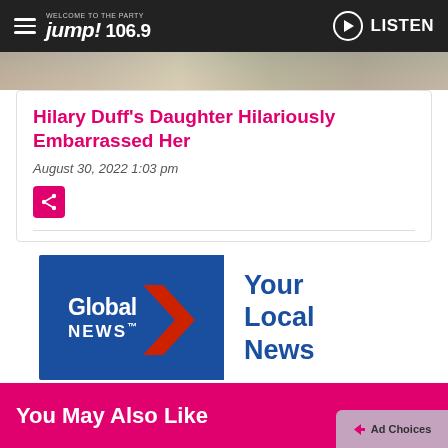WELCOME TO THE PARTY Jump! 106.9 LISTEN
[Figure (photo): Top portion of a photo showing people, cropped at the bottom of the header area]
Hilary Duff's Daughter Hilariously Embarrassed Her
August 30, 2022 1:03 pm
[Figure (logo): Global News logo with red chevron arrow and text 'Your Local News' in blue]
You May Also Like
Ad Choices